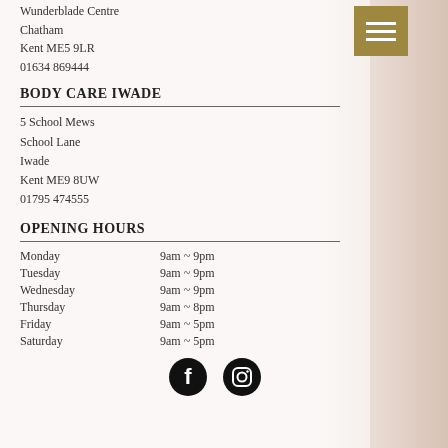Wunderblade Centre
Chatham
Kent ME5 9LR
01634 869444
BODY CARE IWADE
5 School Mews
School Lane
Iwade
Kent ME9 8UW
01795 474555
OPENING HOURS
| Day | Hours |
| --- | --- |
| Monday | 9am ~ 9pm |
| Tuesday | 9am ~ 9pm |
| Wednesday | 9am ~ 9pm |
| Thursday | 9am ~ 8pm |
| Friday | 9am ~ 5pm |
| Saturday | 9am ~ 5pm |
[Figure (illustration): Facebook and Instagram social media icon buttons in black circles]